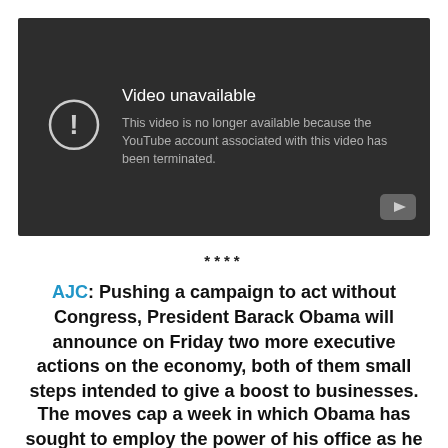[Figure (screenshot): YouTube 'Video unavailable' error screen with dark background, exclamation icon, text: 'Video unavailable — This video is no longer available because the YouTube account associated with this video has been terminated.' YouTube play button logo in bottom-right corner.]
****
AJC: Pushing a campaign to act without Congress, President Barack Obama will announce on Friday two more executive actions on the economy, both of them small steps intended to give a boost to businesses.
The moves cap a week in which Obama has sought to employ the power of his office as he struggles to make